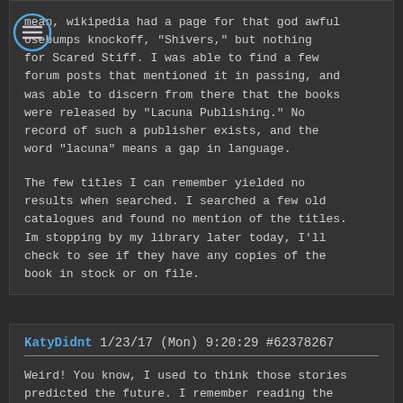mean, wikipedia had a page for that god awful goosebumps knockoff, "Shivers," but nothing for Scared Stiff. I was able to find a few forum posts that mentioned it in passing, and was able to discern from there that the books were released by "Lacuna Publishing." No record of such a publisher exists, and the word "lacuna" means a gap in language.

The few titles I can remember yielded no results when searched. I searched a few old catalogues and found no mention of the titles. Im stopping by my library later today, I'll check to see if they have any copies of the book in stock or on file.
KatyDidnt 1/23/17 (Mon) 9:20:29 #62378267
Weird! You know, I used to think those stories predicted the future. I remember reading the one about the horrible earthquakes that tore